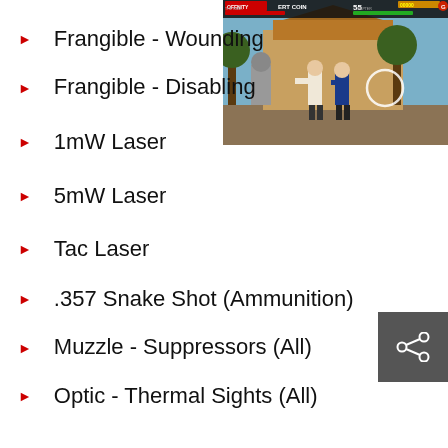[Figure (screenshot): Video game screenshot showing fighting game characters, with UI elements including health bars, coin count, and score display at top]
Frangible - Wounding
Frangible - Disabling
1mW Laser
5mW Laser
Tac Laser
.357 Snake Shot (Ammunition)
Muzzle - Suppressors (All)
Optic - Thermal Sights (All)